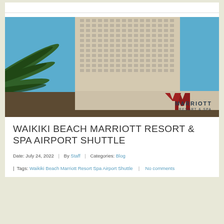[Figure (photo): Exterior photo of Waikiki Beach Marriott Resort and Spa showing the tall hotel tower with grid of windows, green palm fronds in the foreground, blue sky background, and the red Marriott logo with 'MARRIOTT RESORT & SPA' signage on the building facade.]
WAIKIKI BEACH MARRIOTT RESORT & SPA AIRPORT SHUTTLE
Date: July 24, 2022 | By Staff | Categories: Blog | Tags: Waikiki Beach Marriott Resort Spa Airport Shuttle | No comments